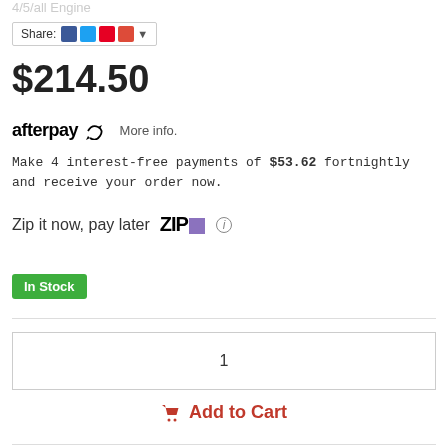...4/5/all Engine
[Figure (screenshot): Share button with social media icons: Facebook, Twitter, Pinterest, Google+]
$214.50
[Figure (logo): Afterpay logo with circular arrows icon]
More info.
Make 4 interest-free payments of $53.62 fortnightly and receive your order now.
Zip it now, pay later
[Figure (logo): Zip logo with purple square]
In Stock
1
Add to Cart